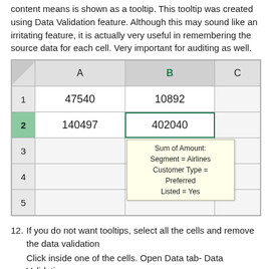content means is shown as a tooltip. This tooltip was created using Data Validation feature. Although this may sound like an irritating feature, it is actually very useful in remembering the source data for each cell. Very important for auditing as well.
[Figure (screenshot): Excel spreadsheet screenshot showing columns A, B (selected/highlighted in green), C and rows 1-5. Row 1: A1=47540, B1=10892. Row 2 (highlighted): A2=140497, B2=402040 (selected cell with green border). A tooltip box appears over rows 3-5 in columns B-C area reading: Sum of Amount: Segment = Airlines, Customer Type = Preferred, Listed = Yes]
12. If you do not want tooltips, select all the cells and remove the data validation
Click inside one of the cells. Open Data tab- Data Validation
As each cell contains DIFFERENT data validation